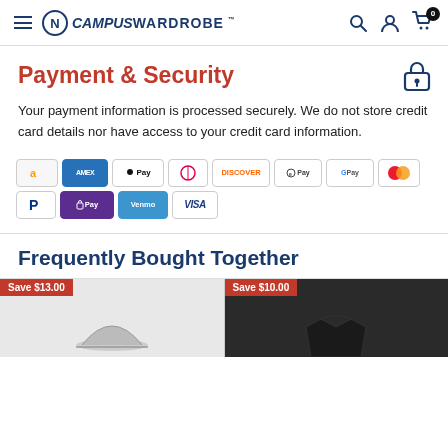CampusWardrobe navigation header
Payment & Security
Your payment information is processed securely. We do not store credit card details nor have access to your credit card information.
[Figure (logo): Payment method icons: Amazon, American Express, Apple Pay, Diners Club, Discover, EFT Pay, Google Pay, Mastercard, PayPal, Shop Pay, Venmo, Visa]
Frequently Bought Together
[Figure (photo): Two product cards side by side, left showing Save $13.00 badge with grey hat product, right showing Save $10.00 badge with dark product]